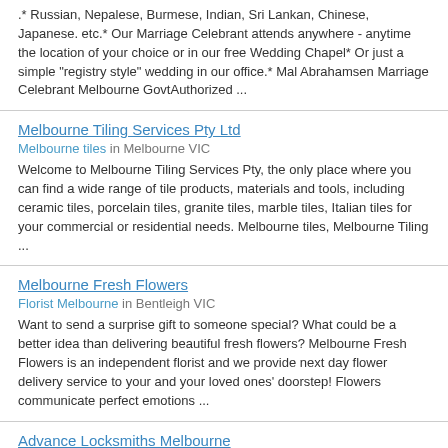.* Russian, Nepalese, Burmese, Indian, Sri Lankan, Chinese, Japanese. etc.* Our Marriage Celebrant attends anywhere - anytime the location of your choice or in our free Wedding Chapel* Or just a simple "registry style" wedding in our office.* Mal Abrahamsen Marriage Celebrant Melbourne GovtAuthorized ...
Melbourne Tiling Services Pty Ltd
Melbourne tiles in Melbourne VIC
Welcome to Melbourne Tiling Services Pty, the only place where you can find a wide range of tile products, materials and tools, including ceramic tiles, porcelain tiles, granite tiles, marble tiles, Italian tiles for your commercial or residential needs. Melbourne tiles, Melbourne Tiling ...
Melbourne Fresh Flowers
Florist Melbourne in Bentleigh VIC
Want to send a surprise gift to someone special? What could be a better idea than delivering beautiful fresh flowers? Melbourne Fresh Flowers is an independent florist and we provide next day flower delivery service to your and your loved ones' doorstep! Flowers communicate perfect emotions ...
Advance Locksmiths Melbourne
Advance Locksmiths Melbourne in Melbourne    Ph: 0401357607
Advance Locksmiths ser are experienced Master Locksmiths servicing Melbourne and surrounding suburbs 24 hours. Advance Locksmiths ...